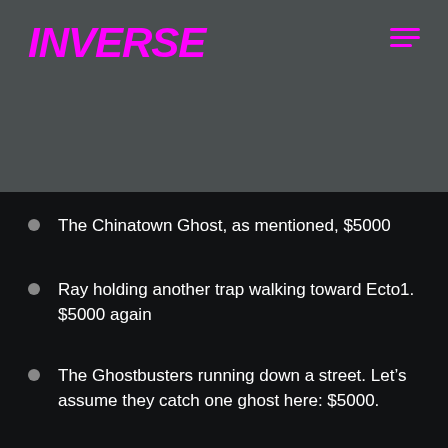INVERSE
The Chinatown Ghost, as mentioned, $5000
Ray holding another trap walking toward Ecto1. $5000 again
The Ghostbusters running down a street. Let’s assume they catch one ghost here: $5000.